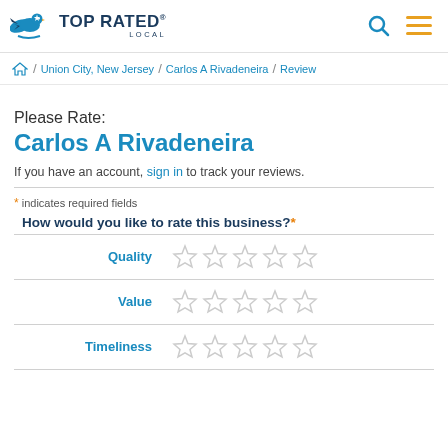TOP RATED LOCAL
Home / Union City, New Jersey / Carlos A Rivadeneira / Review
Please Rate:
Carlos A Rivadeneira
If you have an account, sign in to track your reviews.
* indicates required fields
How would you like to rate this business?*
Quality
Value
Timeliness